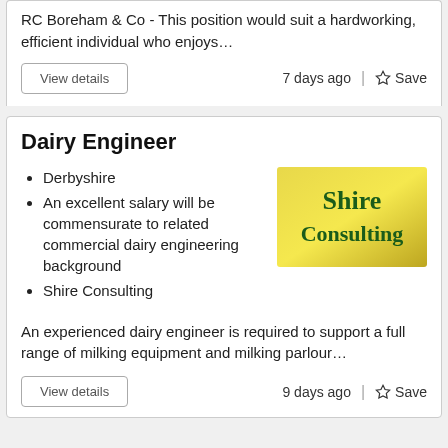RC Boreham & Co - This position would suit a hardworking, efficient individual who enjoys…
View details    7 days ago  |  ☆ Save
Dairy Engineer
Derbyshire
An excellent salary will be commensurate to related commercial dairy engineering background
Shire Consulting
[Figure (logo): Shire Consulting logo - yellow/gold gradient background with dark green bold text reading 'Shire Consulting']
An experienced dairy engineer is required to support a full range of milking equipment and milking parlour…
View details    9 days ago  |  ☆ Save